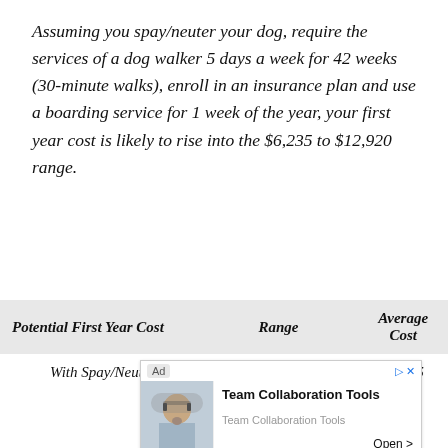Assuming you spay/neuter your dog, require the services of a dog walker 5 days a week for 42 weeks (30-minute walks), enroll in an insurance plan and use a boarding service for 1 week of the year, your first year cost is likely to rise into the $6,235 to $12,920 range.
| Potential First Year Cost | Range | Average Cost |
| --- | --- | --- |
| With Spay/Neuter and | $2,910 – | $5,195 |